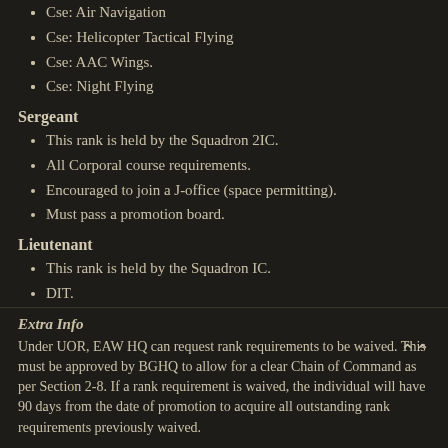Cse: Air Navigation
Cse: Helicopter Tactical Flying
Cse: AAC Wings.
Cse: Night Flying
Sergeant
This rank is held by the Squadron 2IC.
All Corporal course requirements.
Encouraged to join a J-office (space permitting).
Must pass a promotion board.
Lieutenant
This rank is held by the Squadron IC.
DIT.
All Sergeant course requirements.
Encouraged to join a J-office (space permitting).
Must run a Phase 3 Course at least once every month.
Extra Info
Under UOR, EAW HQ can request rank requirements to be waived. This must be approved by BGHQ to allow for a clear Chain of Command as per Section 2-8. If a rank requirement is waived, the individual will have 90 days from the date of promotion to acquire all outstanding rank requirements previously waived.